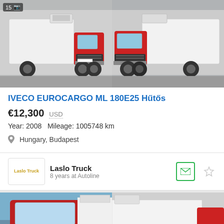[Figure (photo): Red and white IVECO Eurocargo refrigerated truck, left side view, parked in front of grey industrial building. Photo badge showing '15' and camera icon.]
[Figure (photo): Red and white IVECO Eurocargo refrigerated truck, right front view, parked in front of grey industrial building.]
IVECO EUROCARGO ML 180E25 Hűtős
€12,300   USD
Year: 2008   Mileage: 1005748 km
Hungary, Budapest
Laslo Truck
8 years at Autoline
[Figure (photo): Second truck listing - red truck with white refrigerated body, front view with blue sky background.]
[Figure (photo): Second truck listing - white refrigerated truck body, partial side view.]